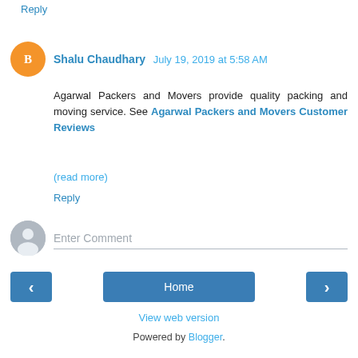Reply
Shalu Chaudhary  July 19, 2019 at 5:58 AM
Agarwal Packers and Movers provide quality packing and moving service. See Agarwal Packers and Movers Customer Reviews
(read more)
Reply
Enter Comment
Home
View web version
Powered by Blogger.